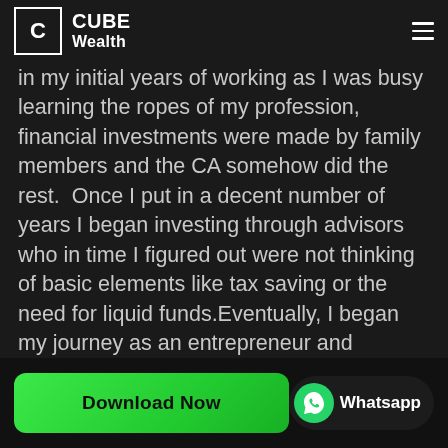CUBE Wealth
in my initial years of working as I was busy learning the ropes of my profession, financial investments were made by family members and the CA somehow did the rest.  Once I put in a decent number of years I began investing through advisors who in time I figured out were not thinking of basic elements like tax saving or the need for liquid funds.Eventually, I began my journey as an entrepreneur and suddenly money management became crucial. It could not just be managing funds but effectively managing
Download Now
Whatsapp